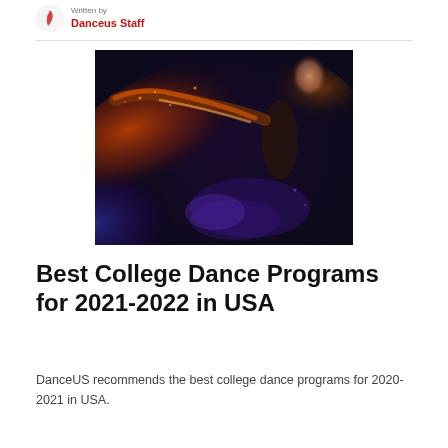Written by
Danceus Staff
[Figure (photo): A dancer in dramatic artistic photo with swirling orange and purple light/particle effects against a dark background, conveying dynamic motion.]
Best College Dance Programs for 2021-2022 in USA
DanceUS recommends the best college dance programs for 2020-2021 in USA.